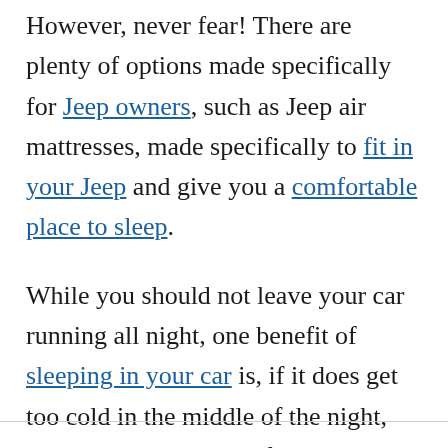However, never fear! There are plenty of options made specifically for Jeep owners, such as Jeep air mattresses, made specifically to fit in your Jeep and give you a comfortable place to sleep.
While you should not leave your car running all night, one benefit of sleeping in your car is, if it does get too cold in the middle of the night, you can run the heater for a bit.